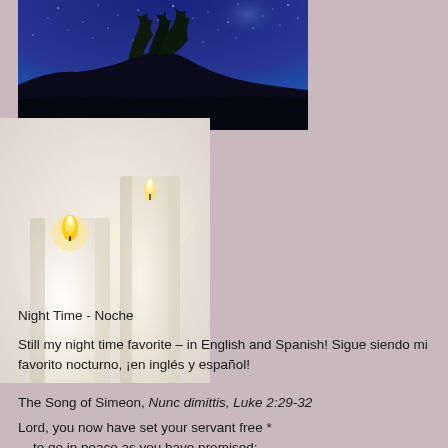[Figure (photo): Night sky with stars and silhouette of trees on a hillside, deep blue sky]
[Figure (photo): Two white pillar candles glowing warmly against a light background]
Night Time - Noche
Still my night time favorite – in English and Spanish!  Sigue siendo mi favorito nocturno, ¡en inglés y español!
The Song of Simeon, Nunc dimittis, Luke 2:29-32
Lord, you now have set your servant free *
    to go in peace as you have promised;